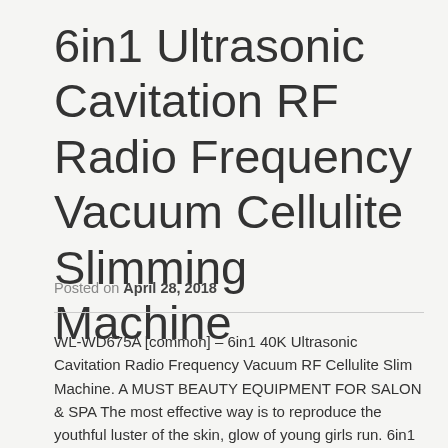6in1 Ultrasonic Cavitation RF Radio Frequency Vacuum Cellulite Slimming Machine
Posted on April 28, 2018
WL-WD675A [common] – 6in1 40K Ultrasonic Cavitation Radio Frequency Vacuum RF Cellulite Slim Machine. A MUST BEAUTY EQUIPMENT FOR SALON & SPA The most effective way is to reproduce the youthful luster of the skin, glow of young girls run. 6in1 40K Ultrasonic Cavitation Radio Frequency Vacuum RF Cellulite Slim Machine. 6in1 40K